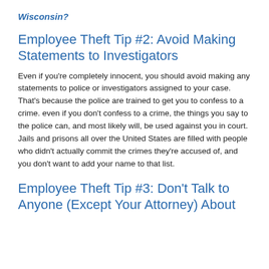Wisconsin?
Employee Theft Tip #2: Avoid Making Statements to Investigators
Even if you’re completely innocent, you should avoid making any statements to police or investigators assigned to your case. That’s because the police are trained to get you to confess to a crime. even if you don’t confess to a crime, the things you say to the police can, and most likely will, be used against you in court. Jails and prisons all over the United States are filled with people who didn’t actually commit the crimes they’re accused of, and you don't want to add your name to that list.
Employee Theft Tip #3: Don’t Talk to Anyone (Except Your Attorney) About